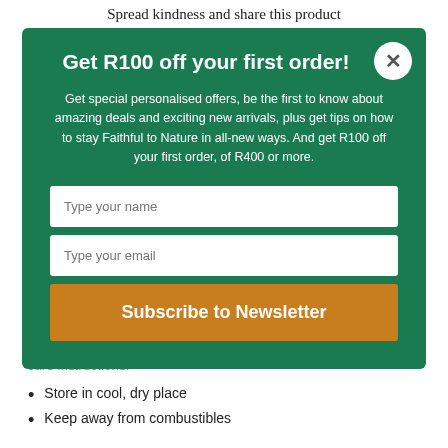Spread kindness and share this product
Get R100 off your first order!
Get special personalised offers, be the first to know about amazing deals and exciting new arrivals, plus get tips on how to stay Faithful to Nature in all-new ways. And get R100 off your first order, of R400 or more.
Type your name
Type your email
Subscribe to Newsletter
care instructions:
Store in cool, dry place
Keep away from combustibles